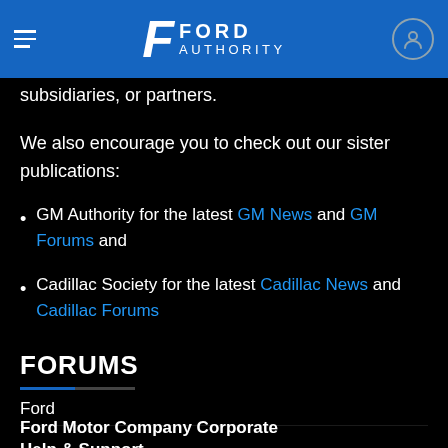Ford Authority
subsidiaries, or partners.
We also encourage you to check out our sister publications:
GM Authority for the latest GM News and GM Forums and
Cadillac Society for the latest Cadillac News and Cadillac Forums
FORUMS
Ford
Ford Motor Company Corporate
Help & Support